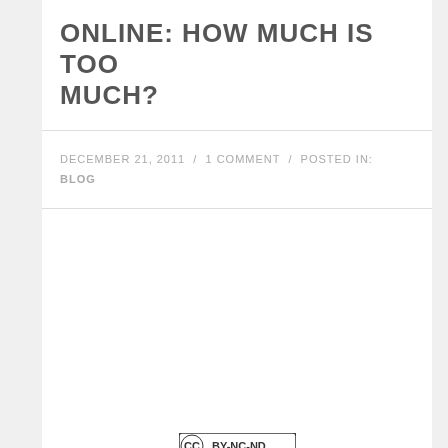ONLINE: HOW MUCH IS TOO MUCH?
DECEMBER 21, 2011 / 1 COMMENT / POSTED IN: BLOG
[Figure (other): Creative Commons BY-NC-ND license badge]
Charlie Sheen's Infamous Tweet